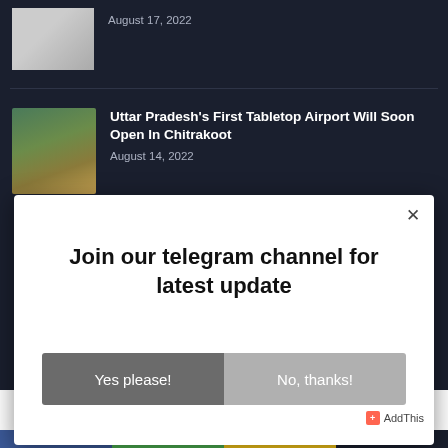August 17, 2022
[Figure (photo): News article thumbnail image of a person]
[Figure (photo): Tabletop airport landscape photo showing hills and runway]
Uttar Pradesh's First Tabletop Airport Will Soon Open In Chitrakoot
August 14, 2022
Join our telegram channel for latest update
Yes please!
No, thanks!